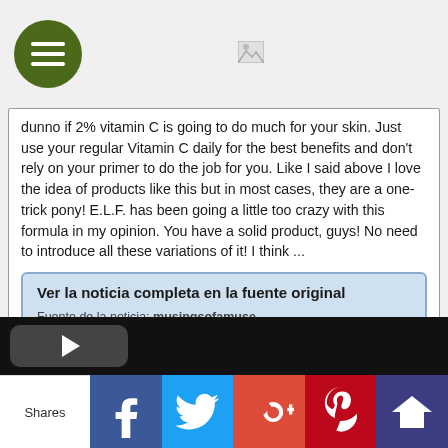[Figure (screenshot): Green circular hamburger menu button and a broken image icon in the top navigation bar]
dunno if 2% vitamin C is going to do much for your skin. Just use your regular Vitamin C daily for the best benefits and don't rely on your primer to do the job for you. Like I said above I love the idea of products like this but in most cases, they are a one-trick pony! E.L.F. has been going a little too crazy with this formula in my opinion. You have a solid product, guys! No need to introduce all these variations of it! I think ...
Ver la noticia completa en la fuente original
Fuente de la noticia: musingsofamuse
URL de la Fuente: http://www.musingsofamuse.com
-------------------------------------
[Figure (screenshot): Black video player bar with a rounded rectangle play button]
[Figure (screenshot): Social share bar with Shares label and buttons for Facebook, Twitter, Google+, Pinterest, and StumbleUpon]